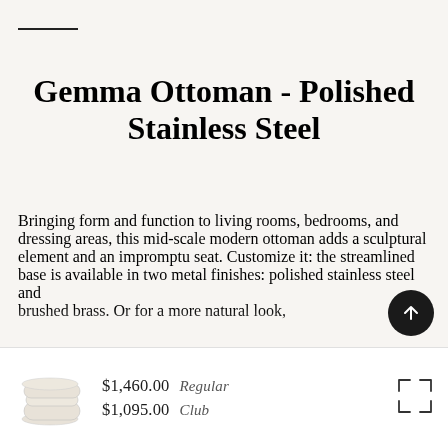Gemma Ottoman - Polished Stainless Steel
Bringing form and function to living rooms, bedrooms, and dressing areas, this mid-scale modern ottoman adds a sculptural element and an impromptu seat. Customize it: the streamlined base is available in two metal finishes: polished stainless steel and brushed brass. Or for a more natural look,
$1,460.00 Regular
$1,095.00 Club